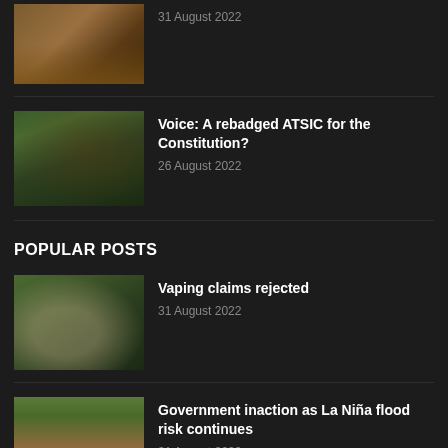[Figure (photo): Flooded street or waterway with muddy brown water, partially visible at top]
31 August 2022
[Figure (photo): Indigenous child wearing a colorful printed t-shirt, outdoors]
Voice: A rebadged ATSIC for the Constitution?
26 August 2022
POPULAR POSTS
[Figure (photo): Person holding a vaping device, blurred background]
Vaping claims rejected
31 August 2022
[Figure (photo): Flooded street with palm trees and buildings, muddy floodwater]
Government inaction as La Niña flood risk continues
31 August 2022